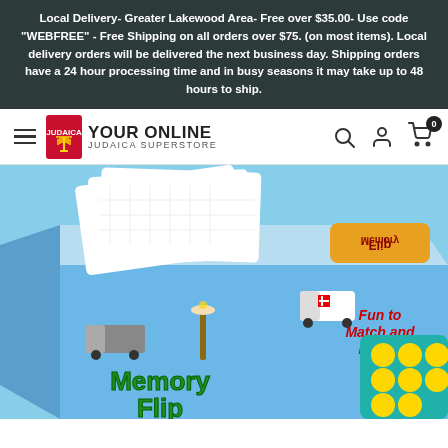Local Delivery- Greater Lakewood Area- Free over $35.00- Use code "WEBFREE" - Free Shipping on all orders over $75. (on most items). Local delivery orders will be delivered the next business day. Shipping orders have a 24 hour processing time and in busy seasons it may take up to 48 hours to ship.
[Figure (screenshot): Navigation bar with hamburger menu, Your Online Judaica Superstore logo, search icon, user icon, and cart icon with badge showing 0]
[Figure (photo): Product photo of a Memory Flip board game box with blue background showing Jewish-themed illustrations, cards fanned out on top, game board visible on the right side, and text 'Fun to Match and Learn!' on the box]